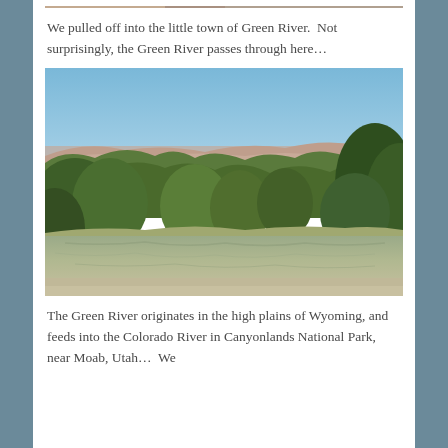[Figure (photo): Partial top strip of a photo visible at very top of page, showing warm brownish tones — appears to be a continuation of an image from previous page]
We pulled off into the little town of Green River.  Not surprisingly, the Green River passes through here…
[Figure (photo): A photograph of the Green River near Green River, Utah. The river is wide with calm, greenish-brown water in the foreground. Dense trees including cottonwoods line both banks. In the background, red rock mesa formations are visible under a clear blue sky.]
The Green River originates in the high plains of Wyoming, and feeds into the Colorado River in Canyonlands National Park, near Moab, Utah…  We